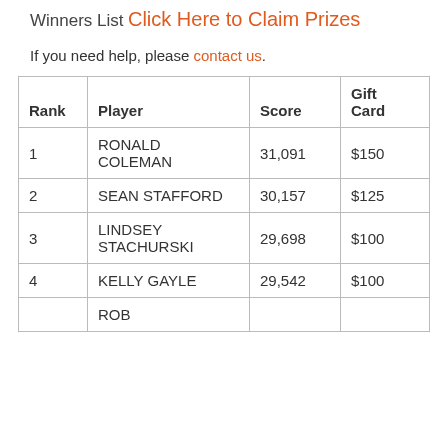Winners List
Click Here to Claim Prizes
If you need help, please contact us.
| Rank | Player | Score | Gift Card |
| --- | --- | --- | --- |
| 1 | RONALD COLEMAN | 31,091 | $150 |
| 2 | SEAN STAFFORD | 30,157 | $125 |
| 3 | LINDSEY STACHURSKI | 29,698 | $100 |
| 4 | KELLY GAYLE | 29,542 | $100 |
| 5 | ROB |  |  |